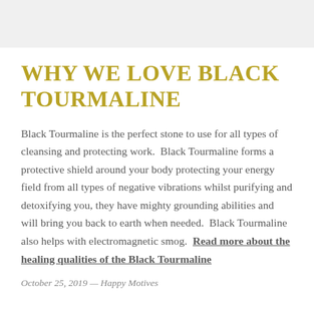WHY WE LOVE BLACK TOURMALINE
Black Tourmaline is the perfect stone to use for all types of cleansing and protecting work.  Black Tourmaline forms a protective shield around your body protecting your energy field from all types of negative vibrations whilst purifying and detoxifying you, they have mighty grounding abilities and will bring you back to earth when needed.  Black Tourmaline also helps with electromagnetic smog.  Read more about the healing qualities of the Black Tourmaline
October 25, 2019 — Happy Motives